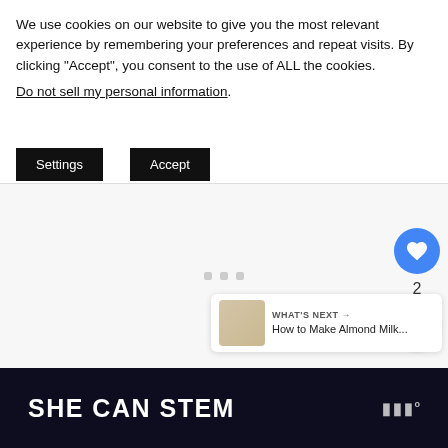We use cookies on our website to give you the most relevant experience by remembering your preferences and repeat visits. By clicking “Accept”, you consent to the use of ALL the cookies.
Do not sell my personal information.
Settings
Accept
[Figure (screenshot): Loading content area with three small grey dots in center, a circular blue heart button on right side, count '2' below, a share button, and a 'WHAT'S NEXT' card showing 'How to Make Almond Milk...']
[Figure (logo): SHE CAN STEM banner with dark background and logo mark on right]